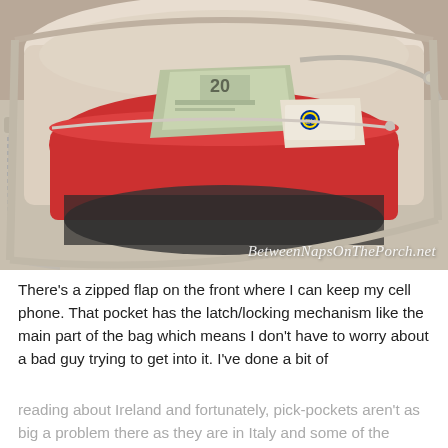[Figure (photo): Open bag/purse showing interior with a red zippered inner pocket containing US dollar bills and what appears to be a European ID card or passport, with a silver zipper visible on the outside of the bag. Watermark reads BetweenNapsOnThePorch.net]
There's a zipped flap on the front where I can keep my cell phone. That pocket has the latch/locking mechanism like the main part of the bag which means I don't have to worry about a bad guy trying to get into it. I've done a bit of reading about Ireland and fortunately, pick-pockets aren't as big a problem there as they are in Italy and some of the